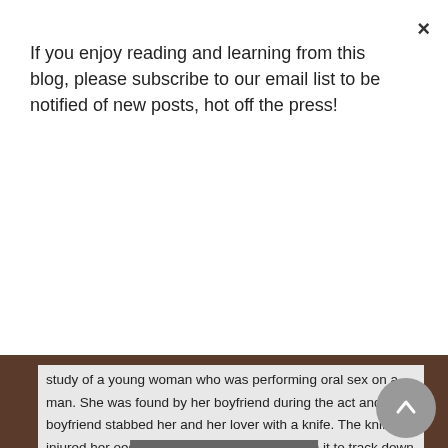If you enjoy reading and learning from this blog, please subscribe to our email list to be notified of new posts, hot off the press!
Subscribe!
study of a young woman who was performing oral sex on a man. She was found by her boyfriend during the act and the boyfriend stabbed her and her lover with a knife. The knife injured her oesophagus, causing the sperm in it to track down the abdomen and down to her reproductive organs. By a stroke of luck, an egg was misplaced during ovulation, causing it to drift into the abdomen instead of the fallopian tube (ectopic pregnancy), and met with the sperm. The egg was then fertilised and the girl presented to the hospital three months later with excruciating abdominal pain. The